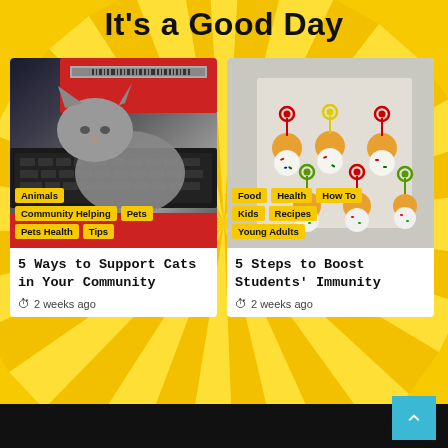It's a Good Day
[Figure (photo): Photo of a gray tabby cat sitting next to a laptop keyboard, with a red box in the background]
[Figure (photo): Photo of food skewers with orange and white round food items topped with colorful decorative picks on a light surface]
Animals
Community Helping
Pets
Pets Health
Tips
Food
Health
How To
Kids
Recipes
Young Adults
5 Ways to Support Cats in Your Community
2 weeks ago
5 Steps to Boost Students' Immunity
2 weeks ago